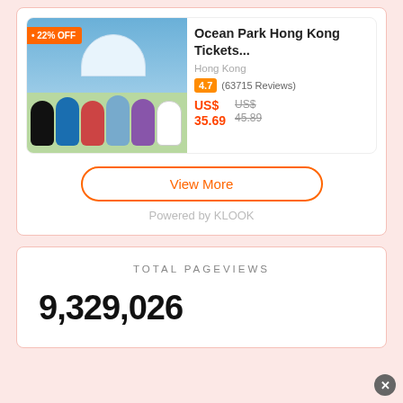[Figure (screenshot): Ocean Park Hong Kong mascots photo with 22% OFF discount badge overlay]
Ocean Park Hong Kong Tickets...
Hong Kong
4.7 (63715 Reviews)
US$ 35.69
US$ 45.89
View More
Powered by KLOOK
TOTAL PAGEVIEWS
9,329,026